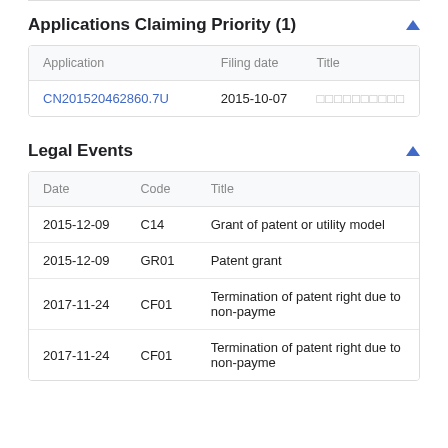Applications Claiming Priority (1)
| Application | Filing date | Title |
| --- | --- | --- |
| CN201520462860.7U | 2015-10-07 | □□□□□□□□□□ |
Legal Events
| Date | Code | Title |
| --- | --- | --- |
| 2015-12-09 | C14 | Grant of patent or utility model |
| 2015-12-09 | GR01 | Patent grant |
| 2017-11-24 | CF01 | Termination of patent right due to non-payme |
| 2017-11-24 | CF01 | Termination of patent right due to non-payme |